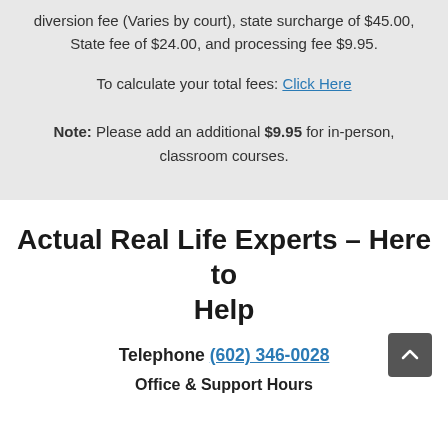diversion fee (Varies by court), state surcharge of $45.00, State fee of $24.00, and processing fee $9.95.
To calculate your total fees: Click Here
Note: Please add an additional $9.95 for in-person, classroom courses.
Actual Real Life Experts – Here to Help
Telephone (602) 346-0028
Office & Support Hours